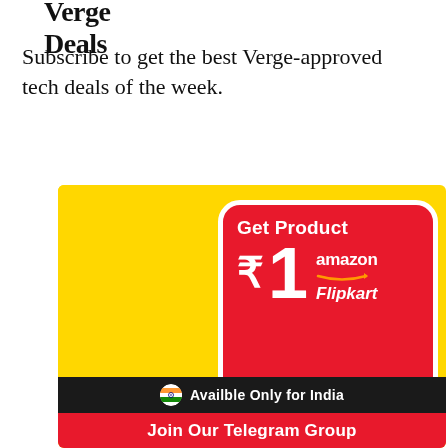Verge Deals
Subscribe to get the best Verge-approved tech deals of the week.
[Figure (illustration): Advertisement banner on yellow background showing a person pointing at a red rounded rectangle with text 'Get Product ₹1 amazon Flipkart', a black bar with Indian flag and text 'Availble Only for India', and a red bottom bar with text 'Join Our Telegram Group']